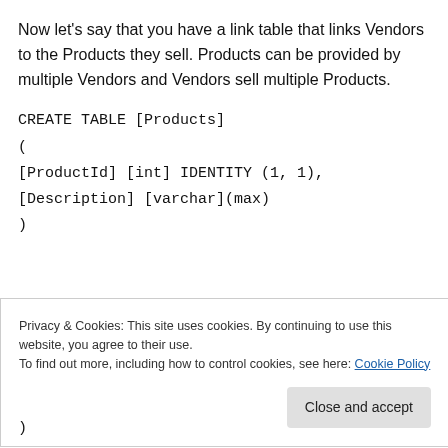Now let's say that you have a link table that links Vendors to the Products they sell. Products can be provided by multiple Vendors and Vendors sell multiple Products.
CREATE TABLE [Products]
(
[ProductId] [int] IDENTITY (1, 1),
[Description] [varchar](max)
)
Privacy & Cookies: This site uses cookies. By continuing to use this website, you agree to their use.
To find out more, including how to control cookies, see here: Cookie Policy
Close and accept
)